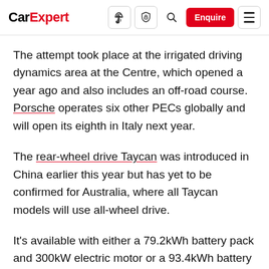CarExpert — navigation bar with logo, icons, Enquire button, and hamburger menu
The attempt took place at the irrigated driving dynamics area at the Centre, which opened a year ago and also includes an off-road course. Porsche operates six other PECs globally and will open its eighth in Italy next year.
The rear-wheel drive Taycan was introduced in China earlier this year but has yet to be confirmed for Australia, where all Taycan models will use all-wheel drive.
It's available with either a 79.2kWh battery pack and 300kW electric motor or a 93.4kWh battery and